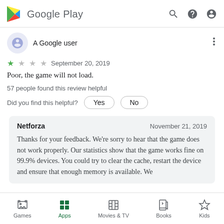Google Play
A Google user
★☆☆☆  September 20, 2019
Poor, the game will not load.
57 people found this review helpful
Did you find this helpful?  Yes  No
Netforza  November 21, 2019
Thanks for your feedback. We're sorry to hear that the game does not work properly. Our statistics show that the game works fine on 99.9% devices. You could try to clear the cache, restart the device and ensure that enough memory is available. We
Games  Apps  Movies & TV  Books  Kids